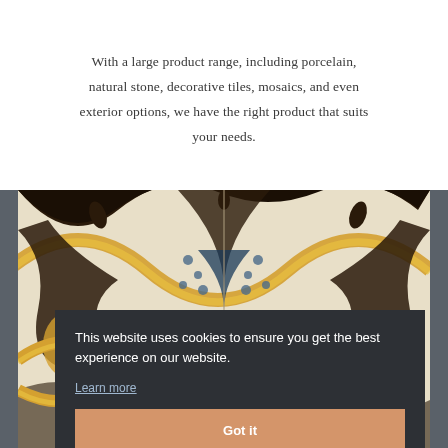With a large product range, including porcelain, natural stone, decorative tiles, mosaics, and even exterior options, we have the right product that suits your needs.
[Figure (photo): Close-up photo of decorative ceramic tiles with geometric and floral patterns in blue, yellow/gold, dark brown/black, and cream/white colors. The tiles feature traditional Moroccan or Mediterranean style designs.]
This website uses cookies to ensure you get the best experience on our website.
Learn more
Got it